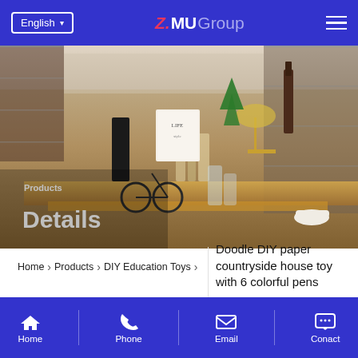English  |  Z.MU Group
[Figure (photo): Interior of a retail/gift shop with shelves of various decorative items, glassware, and home goods displayed on wooden tables. Overlay text reads 'Products Details'.]
Products
Details
Home > Products > DIY Education Toys
Doodle DIY paper countryside house toy with 6 colorful pens
Home   Phone   Email   Conact